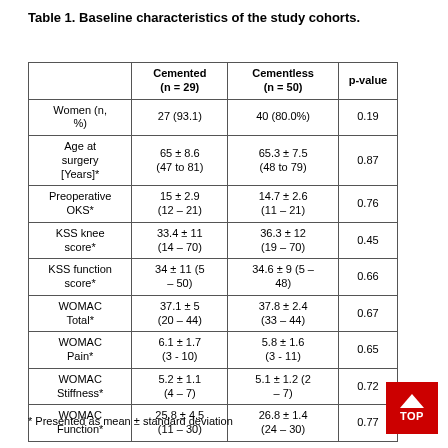Table 1. Baseline characteristics of the study cohorts.
|  | Cemented (n = 29) | Cementless (n = 50) | p-value |
| --- | --- | --- | --- |
| Women (n, %) | 27 (93.1) | 40 (80.0%) | 0.19 |
| Age at surgery [Years]* | 65 ± 8.6 (47 to 81) | 65.3 ± 7.5 (48 to 79) | 0.87 |
| Preoperative OKS* | 15 ± 2.9 (12 – 21) | 14.7 ± 2.6 (11 – 21) | 0.76 |
| KSS knee score* | 33.4 ± 11 (14 – 70) | 36.3 ± 12 (19 – 70) | 0.45 |
| KSS function score* | 34 ± 11 (5 – 50) | 34.6 ± 9 (5 – 48) | 0.66 |
| WOMAC Total* | 37.1 ± 5 (20 – 44) | 37.8 ± 2.4 (33 – 44) | 0.67 |
| WOMAC Pain* | 6.1 ± 1.7 (3 - 10) | 5.8 ± 1.6 (3 - 11) | 0.65 |
| WOMAC Stiffness* | 5.2 ± 1.1 (4 – 7) | 5.1 ± 1.2 (2 – 7) | 0.72 |
| WOMAC Function* | 25.8 ± 4.5 (11 – 30) | 26.8 ± 1.4 (24 – 30) | 0.77 |
* Presented as mean ± standard deviation